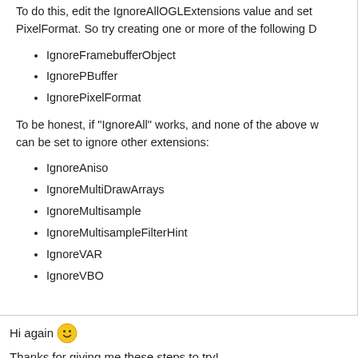To do this, edit the IgnoreAllOGLExtensions value and set PixelFormat. So try creating one or more of the following D
IgnoreFramebufferObject
IgnorePBuffer
IgnorePixelFormat
To be honest, if "IgnoreAll" works, and none of the above w can be set to ignore other extensions:
IgnoreAniso
IgnoreMultiDrawArrays
IgnoreMultisample
IgnoreMultisampleFilterHint
IgnoreVAR
IgnoreVBO
Hi again 🙂
Thanks for giving me these steps to try!
So, my starting point for testing the registry settings was usin tried installing the whole LDraw package on a second compu card than on my basic laptop might make a difference. What